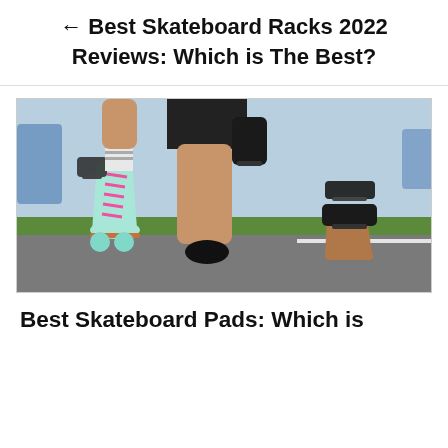← Best Skateboard Racks 2022 Reviews: Which is The Best?
[Figure (photo): Person wearing roller skates with blue boots and pink laces, with protective pads on wrists and knees, crouching on asphalt surface]
Best Skateboard Pads: Which is